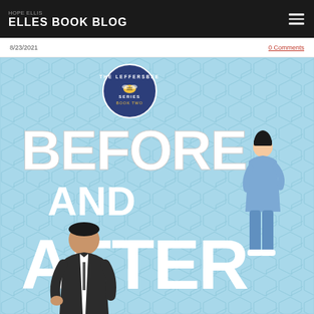HOPE ELLIS
ELLES BOOK BLOG
8/23/2021
0 Comments
[Figure (illustration): Book cover for 'Before and After' - The Leffersbee Series Book Two. Light blue honeycomb background. Large bold white text reading 'Before and After'. A circular badge at top center with a bee and text 'The Leffersbee Series Book Two'. On the right, an illustrated woman in blue scrubs standing with hand on hip. On the lower left, an illustrated man in a dark suit.]